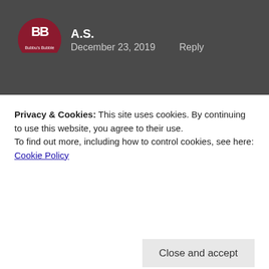[Figure (logo): Circular dark red logo with stylized BB letters and text 'Bubbu's Bubble' around the edge]
A.S.
December 23, 2019    Reply
🙂 Sure, I'll check it out!
★ Liked by 1 person
Privacy & Cookies: This site uses cookies. By continuing to use this website, you agree to their use.
To find out more, including how to control cookies, see here: Cookie Policy
Close and accept